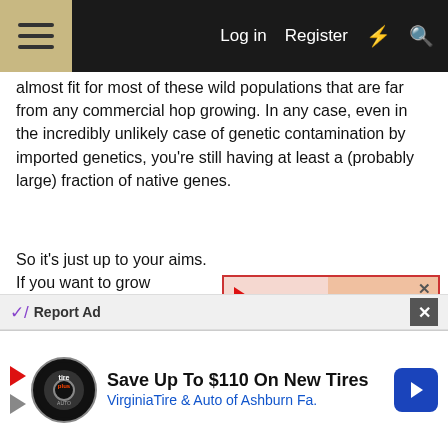☰   Log in   Register   ⚡   🔍
almost fit for most of these wild populations that are far from any commercial hop growing. In any case, even in the incredibly unlikely case of genetic contamination by imported genetics, you're still having at least a (probably large) fraction of native genes.
So it's just up to your aims. If you want to grow "Multihead" from seed, seeds. But if you want absolutely no problems
[Figure (infographic): Advertisement overlay showing kidney stones infographic with cartoon kidneys with 'HELP!' sign, a person holding their back, and text 'Kidney Stones symptoms' in yellow italic font on pink background. Has a play button and close (x) button.]
Neomexicanus hops ar factor, they do tend to e european cultivars, but I can't say on average they are all that impressive. That said, still, if breeding's the
Report Ad
[Figure (infographic): Bottom advertisement banner for VirginiaTire & Auto of Ashburn Fa. with Tire-Plus logo, play button, X button, text 'Save Up To $110 On New Tires', 'VirginiaTire & Auto of Ashburn Fa.' and a blue arrow button.]